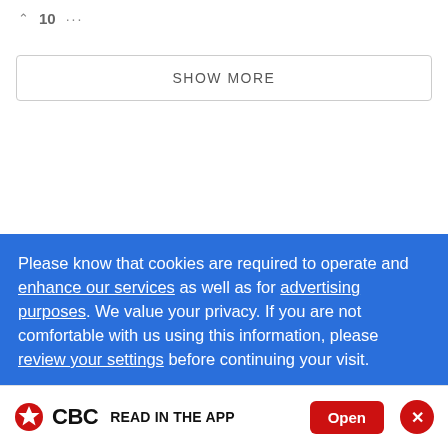^ 10  ...
SHOW MORE
Please know that cookies are required to operate and enhance our services as well as for advertising purposes. We value your privacy. If you are not comfortable with us using this information, please review your settings before continuing your visit.
CBC READ IN THE APP  Open  X